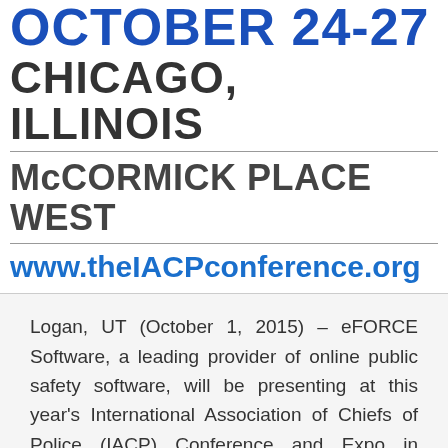OCTOBER 24-27
CHICAGO, ILLINOIS
McCORMICK PLACE WEST
www.theIACPconference.org
Logan, UT (October 1, 2015) – eFORCE Software, a leading provider of online public safety software, will be presenting at this year's International Association of Chiefs of Police (IACP) Conference and Expo in Chicago. The conference runs from…
READ MORE